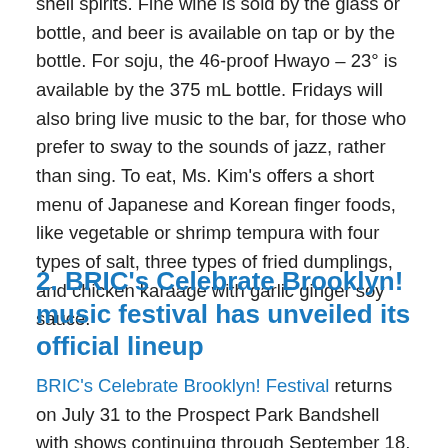shell spirits. Fine wine is sold by the glass or bottle, and beer is available on tap or by the bottle. For soju, the 46-proof Hwayo – 23° is available by the 375 mL bottle. Fridays will also bring live music to the bar, for those who prefer to sway to the sounds of jazz, rather than sing. To eat, Ms. Kim's offers a short menu of Japanese and Korean finger foods, like vegetable or shrimp tempura with four types of salt, three types of fried dumplings, and chicken karaage with garlic ginger soy sauce.
2. BRIC's Celebrate Brooklyn! music festival has unveiled its official lineup
BRIC's Celebrate Brooklyn! Festival returns on July 31 to the Prospect Park Bandshell with shows continuing through September 18, and we couldn't be more excited to